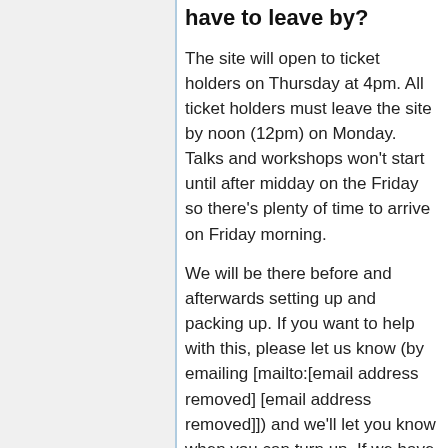have to leave by?
The site will open to ticket holders on Thursday at 4pm. All ticket holders must leave the site by noon (12pm) on Monday. Talks and workshops won't start until after midday on the Friday so there's plenty of time to arrive on Friday morning.
We will be there before and afterwards setting up and packing up. If you want to help with this, please let us know (by emailing [mailto:[email address removed] [email address removed]]) and we'll let you know when you can turn up. If we have not confirmed that we're expecting you before or after the event you will not be admitted to the site. Anyone arriving before Friday morning or staying beyond Monday afternoon will be